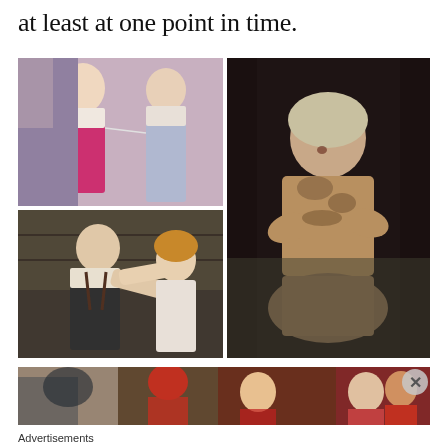at least at one point in time.
[Figure (photo): Theater performance photo collage: top-left shows two women in period costume on stage, one in pink dress one in blue/white dress; top-right shows a woman covered in mud/dirt in dramatic pose on dark stage; bottom-left shows a man and woman in intense theatrical struggle scene; bottom strip shows partial images of additional theatrical scenes.]
Advertisements
[Figure (screenshot): DuckDuckGo advertisement banner: orange left panel reads 'Search, browse, and email with more privacy. All in One Free App', right panel shows DuckDuckGo logo on blue-grey background.]